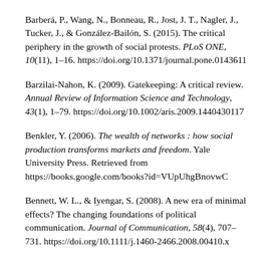Barberá, P., Wang, N., Bonneau, R., Jost, J. T., Nagler, J., Tucker, J., & González-Bailón, S. (2015). The critical periphery in the growth of social protests. PLoS ONE, 10(11), 1–16. https://doi.org/10.1371/journal.pone.0143611
Barzilai-Nahon, K. (2009). Gatekeeping: A critical review. Annual Review of Information Science and Technology, 43(1), 1–79. https://doi.org/10.1002/aris.2009.1440430117
Benkler, Y. (2006). The wealth of networks : how social production transforms markets and freedom. Yale University Press. Retrieved from https://books.google.com/books?id=VUpUhgBnovwC
Bennett, W. L., & Iyengar, S. (2008). A new era of minimal effects? The changing foundations of political communication. Journal of Communication, 58(4), 707–731. https://doi.org/10.1111/j.1460-2466.2008.00410.x